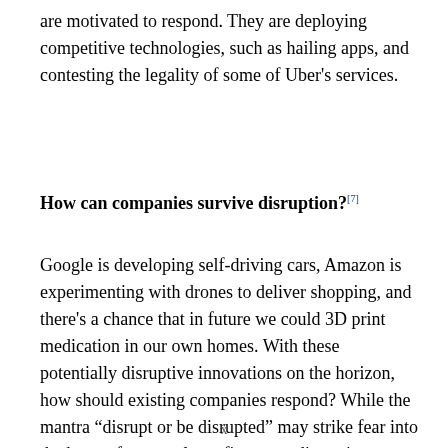are motivated to respond. They are deploying competitive technologies, such as hailing apps, and contesting the legality of some of Uber's services.
How can companies survive disruption?[7]
Google is developing self-driving cars, Amazon is experimenting with drones to deliver shopping, and there's a chance that in future we could 3D print medication in our own homes. With these potentially disruptive innovations on the horizon, how should existing companies respond? While the mantra “disrupt or be disrupted” may strike fear into the heart of many a large firm, true disruptive innovation is surprisingly rare. Companies need to react to
x